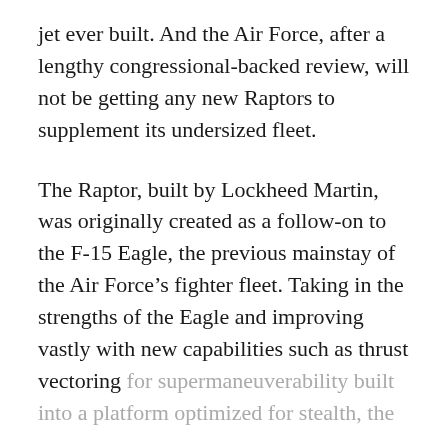jet ever built. And the Air Force, after a lengthy congressional-backed review, will not be getting any new Raptors to supplement its undersized fleet.
The Raptor, built by Lockheed Martin, was originally created as a follow-on to the F-15 Eagle, the previous mainstay of the Air Force's fighter fleet. Taking in the strengths of the Eagle and improving vastly with new capabilities such as thrust vectoring for supermaneuverability built into a platform optimized for stealth, the